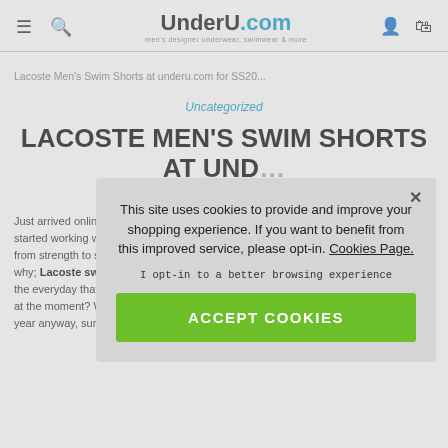UnderU.com — men's designer underwear, swimwear & more
Lacoste Men's Swim Shorts at underu.com for SS20...
Uncategorized
LACOSTE MEN'S SWIM SHORTS AT UND...
By Kelly Rounce / ...
Just arrived online fo... started working with... from strength to stre... why; Lacoste swimw... the everyday that litt... at the moment? Whe... year anyway, sunning yourself in the cute a back garden. Lacoste men's
This site uses cookies to provide and improve your shopping experience. If you want to benefit from this improved service, please opt-in. Cookies Page.
I opt-in to a better browsing experience
ACCEPT COOKIES